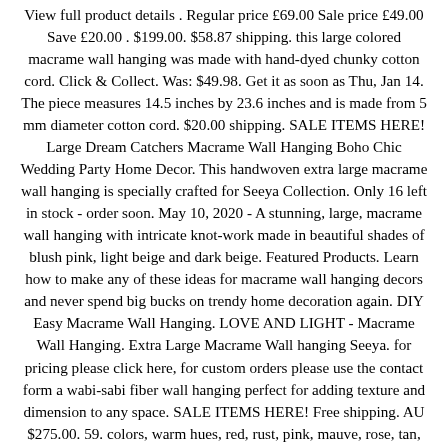View full product details . Regular price £69.00 Sale price £49.00 Save £20.00 . $199.00. $58.87 shipping. this large colored macrame wall hanging was made with hand-dyed chunky cotton cord. Click & Collect. Was: $49.98. Get it as soon as Thu, Jan 14. The piece measures 14.5 inches by 23.6 inches and is made from 5 mm diameter cotton cord. $20.00 shipping. SALE ITEMS HERE! Large Dream Catchers Macrame Wall Hanging Boho Chic Wedding Party Home Decor. This handwoven extra large macrame wall hanging is specially crafted for Seeya Collection. Only 16 left in stock - order soon. May 10, 2020 - A stunning, large, macrame wall hanging with intricate knot-work made in beautiful shades of blush pink, light beige and dark beige. Featured Products. Learn how to make any of these ideas for macrame wall hanging decors and never spend big bucks on trendy home decoration again. DIY Easy Macrame Wall Hanging. LOVE AND LIGHT - Macrame Wall Hanging. Extra Large Macrame Wall hanging Seeya. for pricing please click here, for custom orders please use the contact form a wabi-sabi fiber wall hanging perfect for adding texture and dimension to any space. SALE ITEMS HERE! Free shipping. AU $275.00. 59. colors, warm hues, red, rust, pink, mauve, rose, tan, beige, neutral. This is one of those projects that if you DIY it you can definitely use all kinds of bits and pieces left over from other projects. $7.86 shipping. $11.92. Add to cart Learn how to make your very own Macramé Wall hanging using Macramé knots and weaving skills. "Macrame wall hanging. FREE Shipping on orders